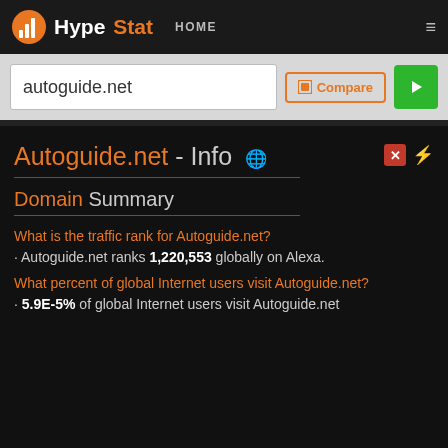HypeStat HOME
autoguide.net
Autoguide.net - Info
Domain Summary
What is the traffic rank for Autoguide.net?
Autoguide.net ranks 1,220,553 globally on Alexa.
What percent of global Internet users visit Autoguide.net?
5.9E-5% of global Internet users visit Autoguide.net